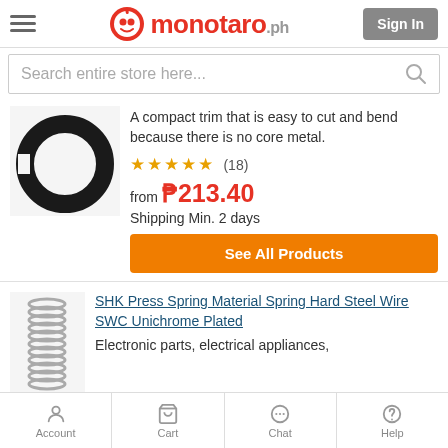monotaro.ph - Sign In
Search entire store here...
[Figure (photo): Black rubber trim ring (circular, no core metal)]
A compact trim that is easy to cut and bend because there is no core metal.
★★★★★ (18)
from ₱213.40
Shipping Min. 2 days
See All Products
[Figure (photo): Metal coil spring (SHK press spring, unichrome plated)]
SHK Press Spring Material Spring Hard Steel Wire SWC Unichrome Plated
Electronic parts, electrical appliances,
Account  Cart  Chat  Help